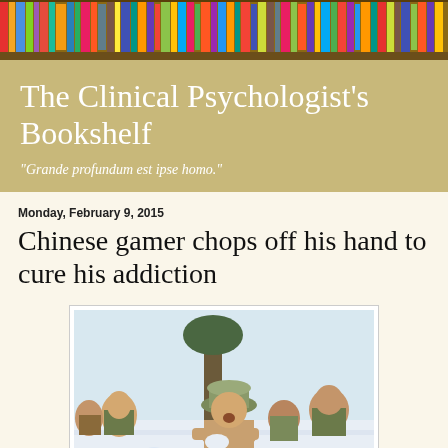[Figure (photo): Colorful bookshelf with books of various colors arranged on wooden shelves]
The Clinical Psychologist's Bookshelf
"Grande profundum est ipse homo."
Monday, February 9, 2015
Chinese gamer chops off his hand to cure his addiction
[Figure (photo): Children kneeling shirtless in snow outdoors, one child in foreground wearing a hat and appearing to be shouting or crying, in a winter outdoor setting]